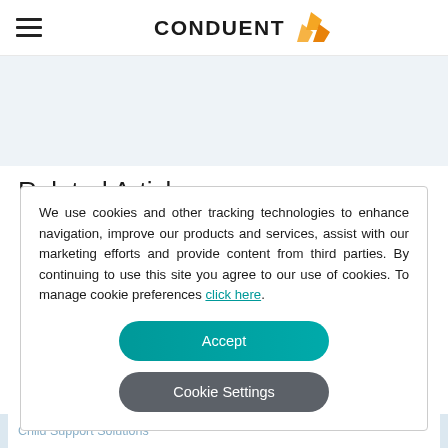CONDUENT
Related Article
We use cookies and other tracking technologies to enhance navigation, improve our products and services, assist with our marketing efforts and provide content from third parties. By continuing to use this site you agree to our use of cookies. To manage cookie preferences click here.
Accept
Cookie Settings
Child Support Solutions